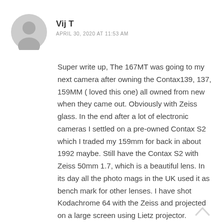[Figure (illustration): Gray circular avatar/profile icon placeholder]
Vij T
APRIL 30, 2020 AT 11:53 AM
Super write up, The 167MT was going to my next camera after owning the Contax139, 137, 159MM ( loved this one) all owned from new when they came out. Obviously with Zeiss glass. In the end after a lot of electronic cameras I settled on a pre-owned Contax S2 which I traded my 159mm for back in about 1992 maybe. Still have the Contax S2 with Zeiss 50mm 1.7, which is a beautiful lens. In its day all the photo mags in the UK used it as bench mark for other lenses. I have shot Kodachrome 64 with the Zeiss and projected on a large screen using Lietz projector. Amazing image quality. Always preferred the shutter dial on the left which was unique to Contax cameras. Oxford, amazing place to photograph, lucky for me it's only a hours drive ! Must